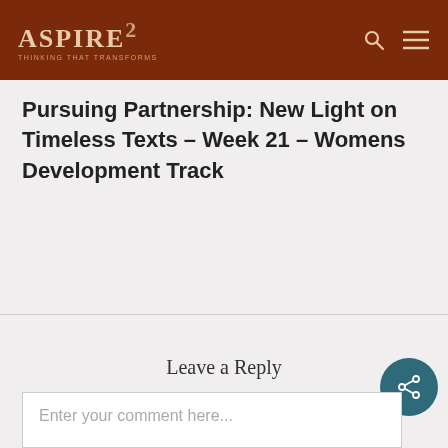ASPIRE2 — THINKING THAT TRANSFORMS
Pursuing Partnership: New Light on Timeless Texts – Week 21 – Womens Development Track
Leave a Reply
Enter your comment here...